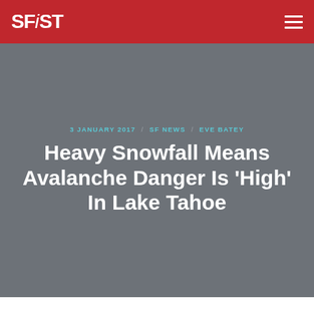SFiST
3 JANUARY 2017 / SF NEWS / EVE BATEY
Heavy Snowfall Means Avalanche Danger Is 'High' In Lake Tahoe